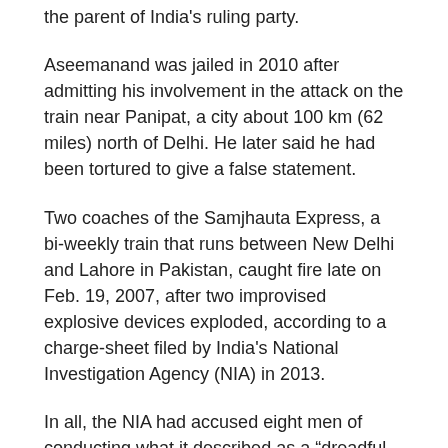the parent of India's ruling party.
Aseemanand was jailed in 2010 after admitting his involvement in the attack on the train near Panipat, a city about 100 km (62 miles) north of Delhi. He later said he had been tortured to give a false statement.
Two coaches of the Samjhauta Express, a bi-weekly train that runs between New Delhi and Lahore in Pakistan, caught fire late on Feb. 19, 2007, after two improvised explosive devices exploded, according to a charge-sheet filed by India's National Investigation Agency (NIA) in 2013.
In all, the NIA had accused eight men of conducting what it described as a “dreadful terrorist act”. It said the group had been “angry with attacks on Hindu temples by jihadi terrorist activities”. One of the accused was murdered in December 2007 and three others absconded from